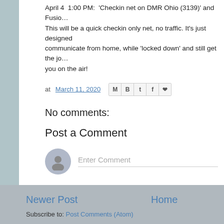April 4  1:00 PM:  'Checkin net on DMR Ohio (3139)' and Fusion... This will be a quick checkin only net, no traffic. It's just designed to communicate from home, while 'locked down' and still get the jo... you on the air!
at March 11, 2020
No comments:
Post a Comment
Enter Comment
Newer Post    Home    Subscribe to: Post Comments (Atom)